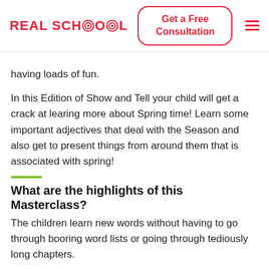REAL SCHOOL | Get a Free Consultation
having loads of fun.
In this Edition of Show and Tell your child will get a crack at learing more about Spring time! Learn some important adjectives that deal with the Season and also get to present things from around them that is associated with spring!
What are the highlights of this Masterclass?
The children learn new words without having to go through booring word lists or going through tediously long chapters.
Instead they will get a chance to present by showing and